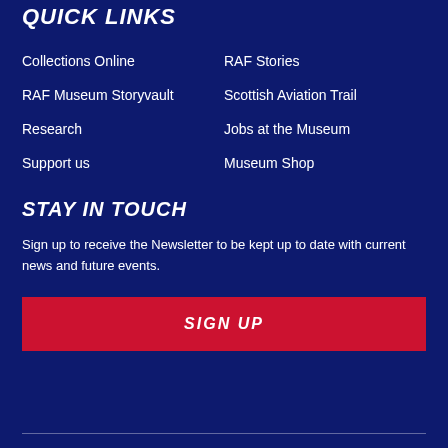QUICK LINKS
Collections Online
RAF Stories
RAF Museum Storyvault
Scottish Aviation Trail
Research
Jobs at the Museum
Support us
Museum Shop
STAY IN TOUCH
Sign up to receive the Newsletter to be kept up to date with current news and future events.
SIGN UP